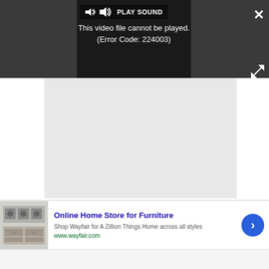[Figure (screenshot): Video player UI showing dark gray background with a black video box displaying an error message: 'This video file cannot be played. (Error Code: 224003)'. A 'PLAY SOUND' button with speaker icon is shown at top. Close (X) button and expand/resize arrows are visible.]
PLAY SOUND
This video file cannot be played. (Error Code: 224003)
[Figure (screenshot): Advertisement banner for Wayfair. Heading: 'Online Home Store for Furniture'. Description: 'Shop Wayfair for A Zillion Things Home across all styles'. URL: 'www.wayfair.com'. Features a product image of kitchen appliances on the left and a blue circle with right arrow on the right.]
Online Home Store for Furniture
Shop Wayfair for A Zillion Things Home across all styles
www.wayfair.com